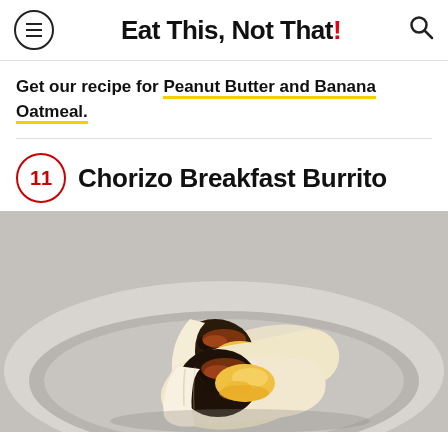Eat This, Not That!
Get our recipe for Peanut Butter and Banana Oatmeal.
11  Chorizo Breakfast Burrito
[Figure (photo): A chorizo breakfast burrito cut in half and placed on a gray plate, showing the filling of scrambled eggs, black beans, chorizo, and cheese inside a flour tortilla.]